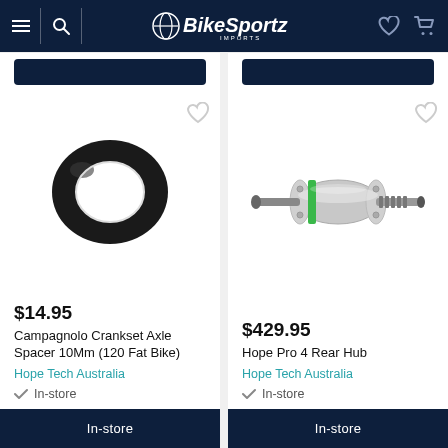BikeSportz Imports
[Figure (photo): Black ring spacer — Campagnolo crankset axle spacer]
$14.95
Campagnolo Crankset Axle Spacer 10Mm (120 Fat Bike)
Hope Tech Australia
In-store
[Figure (photo): Silver rear bicycle hub — Hope Pro 4 Rear Hub with green accent ring]
$429.95
Hope Pro 4 Rear Hub
Hope Tech Australia
In-store